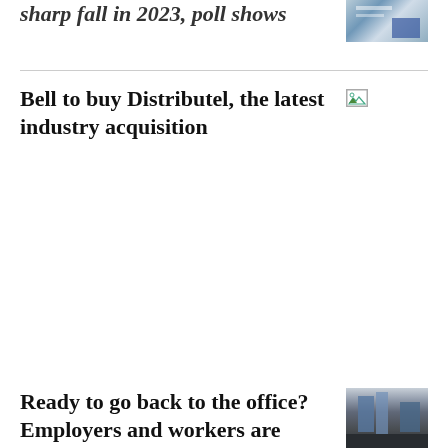sharp fall in 2023, poll shows
[Figure (photo): Partially visible news article thumbnail image, appears to show a building or sign with blue tones]
Bell to buy Distributel, the latest industry acquisition
[Figure (photo): Small broken/placeholder image icon]
Ready to go back to the office? Employers and workers are
[Figure (photo): Street-level photo of office buildings in a city]